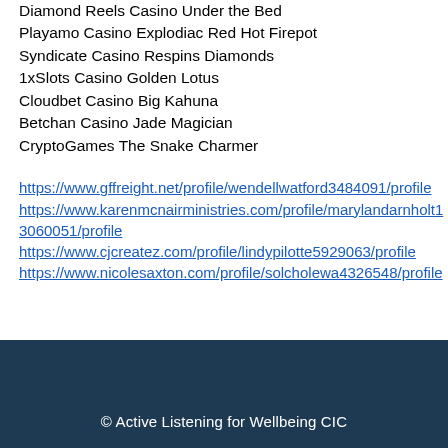Diamond Reels Casino Under the Bed
Playamo Casino Explodiac Red Hot Firepot
Syndicate Casino Respins Diamonds
1xSlots Casino Golden Lotus
Cloudbet Casino Big Kahuna
Betchan Casino Jade Magician
CryptoGames The Snake Charmer
https://www.gffreight.net/profile/wendellwatford3484091/profile https://www.karenmcnairministries.com/profile/marylandarnholt13060051/profile https://www.cjcreatez.com/profile/lindypilotte5929063/profile https://www.nicolesaxton.com/profile/solcholewa4326548/profile
© Active Listening for Wellbeing CIC